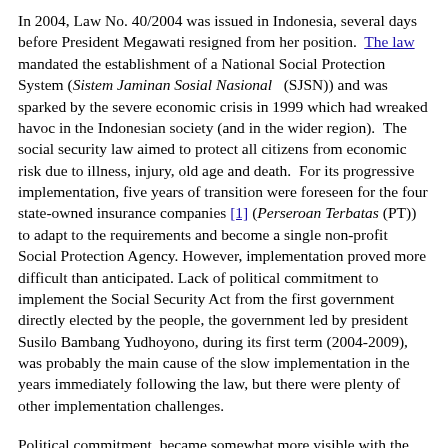In 2004, Law No. 40/2004 was issued in Indonesia, several days before President Megawati resigned from her position. The law mandated the establishment of a National Social Protection System (Sistem Jaminan Sosial Nasional (SJSN)) and was sparked by the severe economic crisis in 1999 which had wreaked havoc in the Indonesian society (and in the wider region). The social security law aimed to protect all citizens from economic risk due to illness, injury, old age and death. For its progressive implementation, five years of transition were foreseen for the four state-owned insurance companies [1] (Perseroan Terbatas (PT)) to adapt to the requirements and become a single non-profit Social Protection Agency. However, implementation proved more difficult than anticipated. Lack of political commitment to implement the Social Security Act from the first government directly elected by the people, the government led by president Susilo Bambang Yudhoyono, during its first term (2004-2009), was probably the main cause of the slow implementation in the years immediately following the law, but there were plenty of other implementation challenges.
Political commitment became somewhat more visible with the formation of a new National Social Security Council (DJSN) on June 24, 2008, nearly four years after the Social Security Act was passed. The implementation of the law really started to gain momentum during the presidential election campaign in 2009 and more of such developments continued since that time.